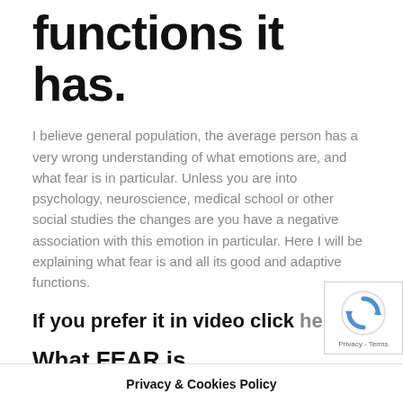functions it has.
I believe general population, the average person has a very wrong understanding of what emotions are, and what fear is in particular. Unless you are into psychology, neuroscience, medical school or other social studies the changes are you have a negative association with this emotion in particular. Here I will be explaining what fear is and all its good and adaptive functions.
If you prefer it in video click here.
What FEAR is
Fear is the emotional response of a real threat, unlike anxiety that is a resp... of a...